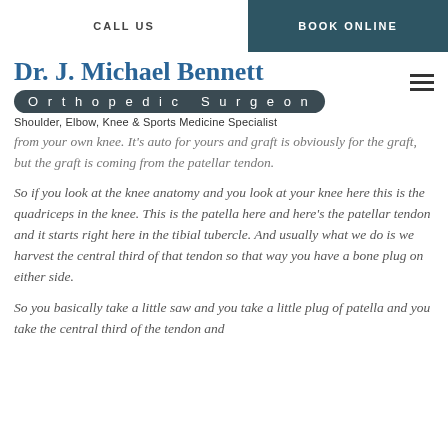CALL US | BOOK ONLINE
Dr. J. Michael Bennett
Orthopedic Surgeon
Shoulder, Elbow, Knee & Sports Medicine Specialist
from your own knee. It's auto for yours and graft is obviously for the graft, but the graft is coming from the patellar tendon.
So if you look at the knee anatomy and you look at your knee here this is the quadriceps in the knee. This is the patella here and here's the patellar tendon and it starts right here in the tibial tubercle. And usually what we do is we harvest the central third of that tendon so that way you have a bone plug on either side.
So you basically take a little saw and you take a little plug of patella and you take the central third of the tendon and